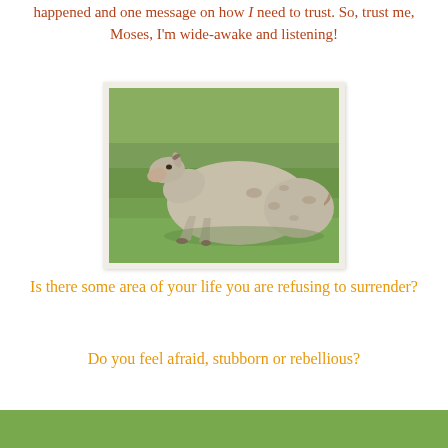happened and one message on how I need to trust. So, trust me, Moses, I'm wide-awake and listening!
[Figure (photo): A grey/tan donkey lying down in a green grassy field, resting on its side with legs extended.]
Is there some area of your life you are refusing to surrender?
Do you feel afraid, stubborn or rebellious?
[Figure (photo): Bottom edge of another green grass photo, partially visible at bottom of page.]